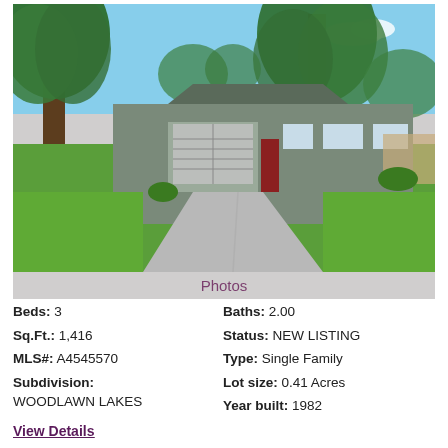[Figure (photo): Exterior front view of a single-family home with large driveway, green lawn, and tall trees. Gray ranch-style house with attached garage.]
Photos
Beds: 3
Baths: 2.00
Sq.Ft.: 1,416
Status: NEW LISTING
MLS#: A4545570
Type: Single Family
Subdivision: WOODLAWN LAKES
Lot size: 0.41 Acres
Year built: 1982
View Details
Contact: Inquire About This Property, vickimarsh@bhhsfloridarealty.net, 941-320